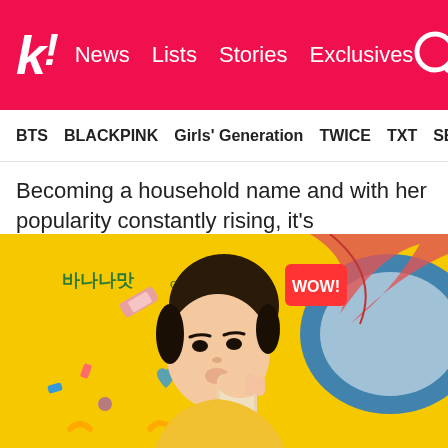k! News Lists Stories Exclusives
BTS BLACKPINK Girls' Generation TWICE TXT SEVE
Becoming a household name and with her popularity constantly rising, it's unsurprising that brands love her too!
[Figure (photo): Young Asian woman in yellow top drinking from a bottle/cup against a bright yellow background with colorful decorative elements. Korean text (바나나맛) visible in upper left corner.]